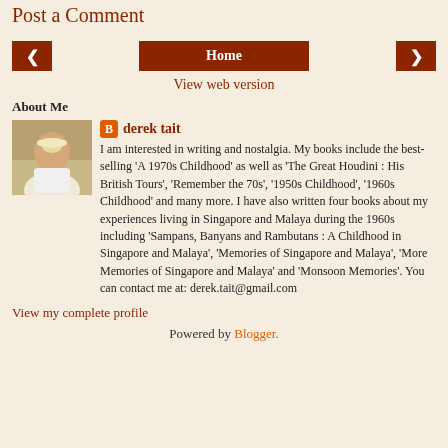Post a Comment
< Home >
View web version
About Me
derek tait
I am interested in writing and nostalgia. My books include the best-selling 'A 1970s Childhood' as well as 'The Great Houdini : His British Tours', 'Remember the 70s', '1950s Childhood', '1960s Childhood' and many more. I have also written four books about my experiences living in Singapore and Malaya during the 1960s including 'Sampans, Banyans and Rambutans : A Childhood in Singapore and Malaya', 'Memories of Singapore and Malaya', 'More Memories of Singapore and Malaya' and 'Monsoon Memories'. You can contact me at: derek.tait@gmail.com
View my complete profile
Powered by Blogger.